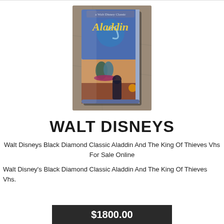[Figure (photo): Photo of Walt Disney's Aladdin VHS tape (Black Diamond Classic) sitting on a granite surface. The VHS case shows the movie title 'Aladdin' in yellow script lettering on a blue cover with characters from the film.]
WALT DISNEYS
Walt Disneys Black Diamond Classic Aladdin And The King Of Thieves Vhs For Sale Online
Walt Disney's Black Diamond Classic Aladdin And The King Of Thieves Vhs.
$1800.00